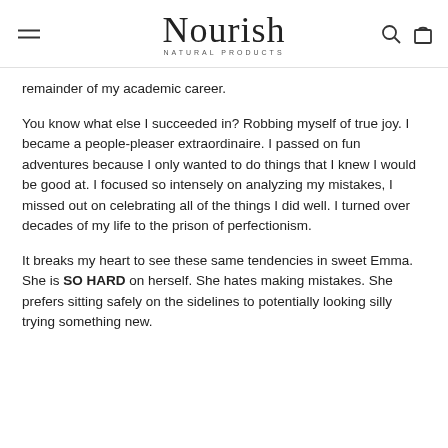Nourish Natural Products
remainder of my academic career.
You know what else I succeeded in? Robbing myself of true joy. I became a people-pleaser extraordinaire. I passed on fun adventures because I only wanted to do things that I knew I would be good at. I focused so intensely on analyzing my mistakes, I missed out on celebrating all of the things I did well. I turned over decades of my life to the prison of perfectionism.
It breaks my heart to see these same tendencies in sweet Emma. She is SO HARD on herself. She hates making mistakes. She prefers sitting safely on the sidelines to potentially looking silly trying something new.